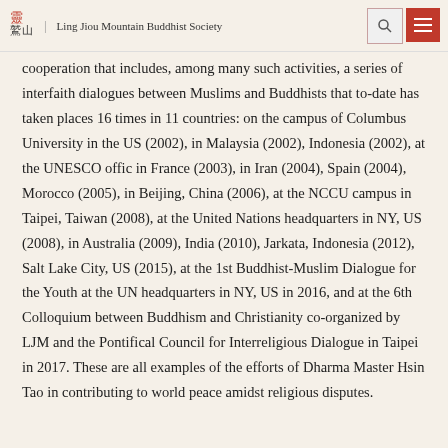Ling Jiou Mountain Buddhist Society
cooperation that includes, among many such activities, a series of interfaith dialogues between Muslims and Buddhists that to-date has taken places 16 times in 11 countries: on the campus of Columbus University in the US (2002), in Malaysia (2002), Indonesia (2002), at the UNESCO offic in France (2003), in Iran (2004), Spain (2004), Morocco (2005), in Beijing, China (2006), at the NCCU campus in Taipei, Taiwan (2008), at the United Nations headquarters in NY, US (2008), in Australia (2009), India (2010), Jarkata, Indonesia (2012), Salt Lake City, US (2015), at the 1st Buddhist-Muslim Dialogue for the Youth at the UN headquarters in NY, US in 2016, and at the 6th Colloquium between Buddhism and Christianity co-organized by LJM and the Pontifical Council for Interreligious Dialogue in Taipei in 2017. These are all examples of the efforts of Dharma Master Hsin Tao in contributing to world peace amidst religious disputes.